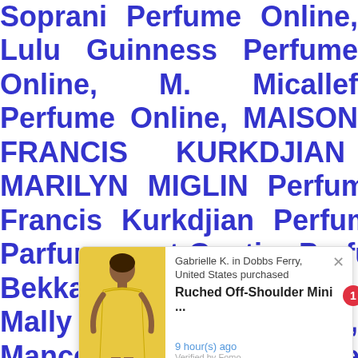Soprani Perfume Online, Lulu Guinness Perfume Online, M. Micallef Perfume Online, MAISON FRANCIS KURKDJIAN Perfume Online, MARILYN MIGLIN Perfume Online, Maison Francis Kurkdjian Perfume Online, Maitre Parfumeur et Gantier Perfume Online, Majda Bekkali Perfume Online, Mally Perfume Online, Mancera Perfume Online, Mandalay Bay Perfume Online, Mandarina Duck Perfume Online, Manuel Canovas Perfume Online, Marc Ecko fume Online, Mari iah Carey Perfume Online, Marilyn Miglin Perfume
[Figure (screenshot): Popup notification showing: Gabrielle K. in Dobbs Ferry, United States purchased Ruched Off-Shoulder Mini ... 9 hour(s) ago, Verified by Fomo, with image of person in yellow dress and red badge showing '1']